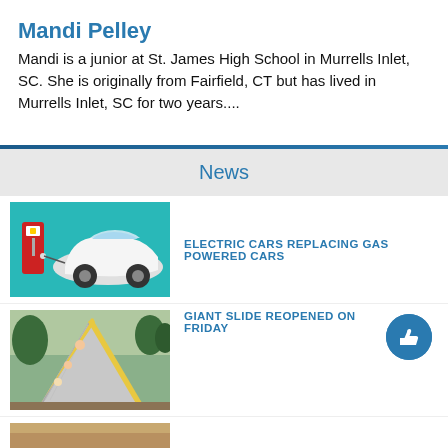Mandi Pelley
Mandi is a junior at St. James High School in Murrells Inlet, SC. She is originally from Fairfield, CT but has lived in Murrells Inlet, SC for two years....
News
[Figure (illustration): Electric car charging at a red charging station against a teal background]
ELECTRIC CARS REPLACING GAS POWERED CARS
[Figure (photo): Giant slide at a park with people on it]
GIANT SLIDE REOPENED ON FRIDAY